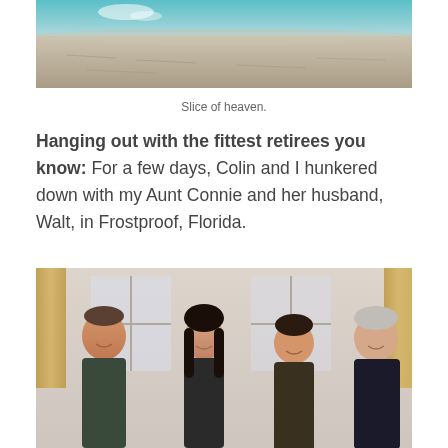[Figure (photo): Aerial beach scene showing turquoise ocean water and sandy shoreline with footprints]
Slice of heaven.
Hanging out with the fittest retirees you know: For a few days, Colin and I hunkered down with my Aunt Connie and her husband, Walt, in Frostproof, Florida.
[Figure (photo): Group photo of four people smiling indoors — two younger adults and two older adults — in front of windows with curtains]